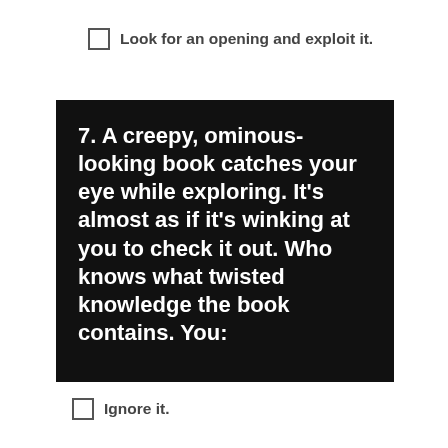Look for an opening and exploit it.
[Figure (other): Black background text box with white bold text reading: '7. A creepy, ominous-looking book catches your eye while exploring. It's almost as if it's winking at you to check it out. Who knows what twisted knowledge the book contains. You:']
Ignore it.